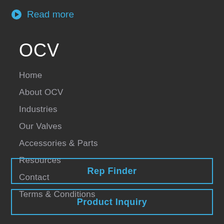Read more
OCV
Home
About OCV
Industries
Our Valves
Accessories & Parts
Resources
Contact
Terms & Conditions
Rep Finder
Product Inquiry